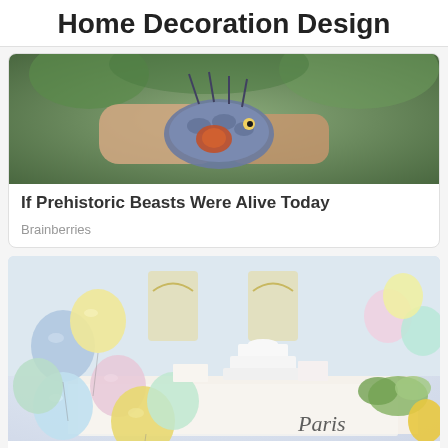Home Decoration Design
[Figure (photo): Close-up photo of hands holding a colorful reptile or exotic creature, with green foliage in background]
If Prehistoric Beasts Were Alive Today
Brainberries
[Figure (photo): Colorful baby shower party decoration with pastel balloons, dessert table, cakes, and a sign reading Paris]
Celebration Eventstyling Babyshower Losangeles